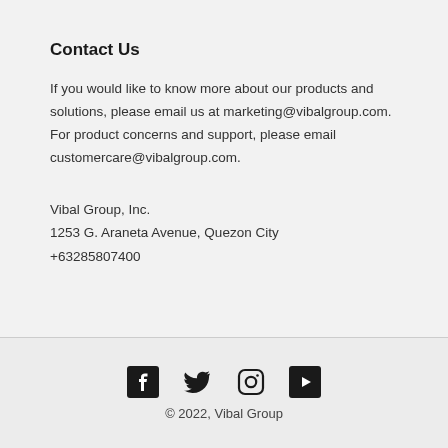Contact Us
If you would like to know more about our products and solutions, please email us at marketing@vibalgroup.com. For product concerns and support, please email customercare@vibalgroup.com.
Vibal Group, Inc.
1253 G. Araneta Avenue, Quezon City
+63285807400
[Figure (illustration): Social media icons: Facebook, Twitter, Instagram, YouTube]
© 2022, Vibal Group